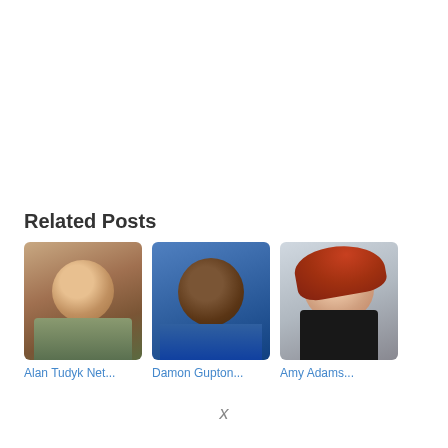Related Posts
[Figure (photo): Photo of Alan Tudyk, a light-skinned man in a casual shirt]
Alan Tudyk Net...
[Figure (photo): Photo of Damon Gupton, a man in front of a blue background]
Damon Gupton...
[Figure (photo): Photo of Amy Adams, a woman with red hair in a black dress]
Amy Adams...